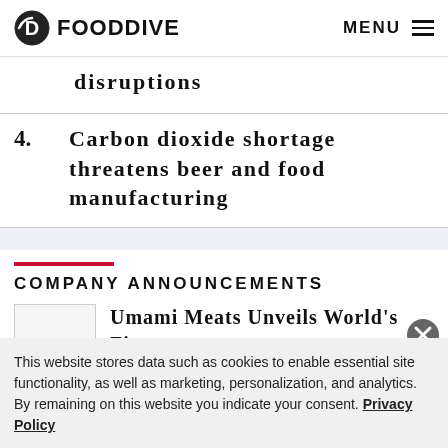FOOD DIVE  MENU
disruptions
4. Carbon dioxide shortage threatens beer and food manufacturing
COMPANY ANNOUNCEMENTS
Umami Meats Unveils World's First
This website stores data such as cookies to enable essential site functionality, as well as marketing, personalization, and analytics. By remaining on this website you indicate your consent. Privacy Policy